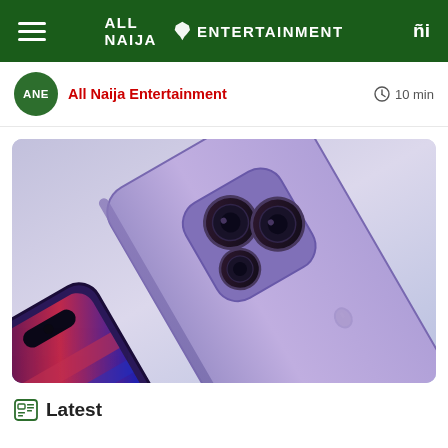ALL NAIJA ENTERTAINMENT
ANE | All Naija Entertainment | 10 min
[Figure (photo): Close-up product photo of a purple iPhone 14 Pro showing the triple camera system on the back, and a second phone showing the front screen with a notch cutout, both on a light purple/blue gradient background.]
Latest